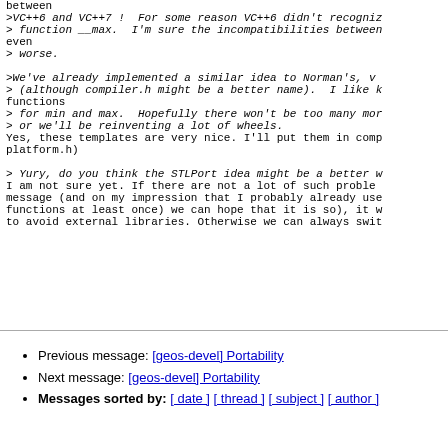between
>VC++6 and VC++7 !  For some reason VC++6 didn't recogniz
> function __max.  I'm sure the incompatibilities between even
> worse.

>We've already implemented a similar idea to Norman's, v
> (although compiler.h might be a better name).  I like k functions
> for min and max.  Hopefully there won't be too many mor
> or we'll be reinventing a lot of wheels.
Yes, these templates are very nice. I'll put them in comp platform.h)

> Yury, do you think the STLPort idea might be a better w
I am not sure yet. If there are not a lot of such proble message (and on my impression that I probably already use functions at least once) we can hope that it is so), it w to avoid external libraries. Otherwise we can always swit
Previous message: [geos-devel] Portability
Next message: [geos-devel] Portability
Messages sorted by: [ date ] [ thread ] [ subject ] [ author ]